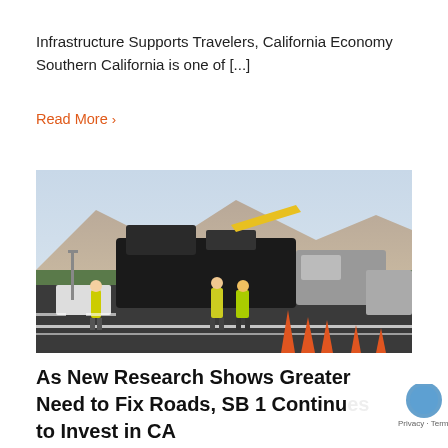Infrastructure Supports Travelers, California Economy Southern California is one of [...]
Read More >
[Figure (photo): Road paving crew with heavy machinery and construction vehicles working on a highway, with mountains visible in the background. Workers in yellow vests and orange traffic cones visible.]
As New Research Shows Greater Need to Fix Roads, SB 1 Continues to Invest in CA